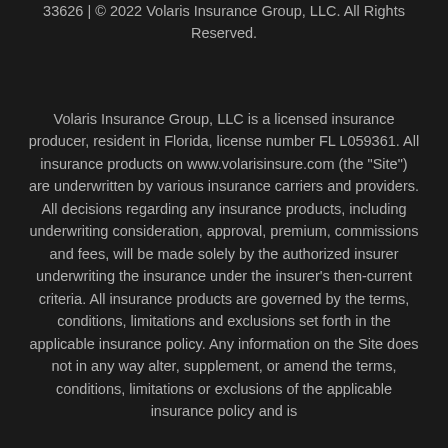33626 | © 2022 Volaris Insurance Group, LLC. All Rights Reserved.
Volaris Insurance Group, LLC is a licensed insurance producer, resident in Florida, license number FL L059361. All insurance products on www.volarisinsure.com (the "Site") are underwritten by various insurance carriers and providers. All decisions regarding any insurance products, including underwriting consideration, approval, premium, commissions and fees, will be made solely by the authorized insurer underwriting the insurance under the insurer's then-current criteria. All insurance products are governed by the terms, conditions, limitations and exclusions set forth in the applicable insurance policy. Any information on the Site does not in any way alter, supplement, or amend the terms, conditions, limitations or exclusions of the applicable insurance policy and is